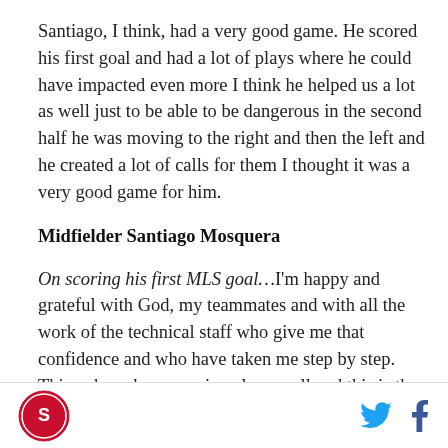Santiago, I think, had a very good game. He scored his first goal and had a lot of plays where he could have impacted even more I think he helped us a lot as well just to be able to be dangerous in the second half he was moving to the right and then the left and he created a lot of calls for them I thought it was a very good game for him.
Midfielder Santiago Mosquera
On scoring his first MLS goal…I'm happy and grateful with God, my teammates and with all the work of the technical staff who give me that confidence and who have taken me step by step. Things have been coming along well and this is the fruition of our daily work
[Logo] [Twitter] [Facebook]